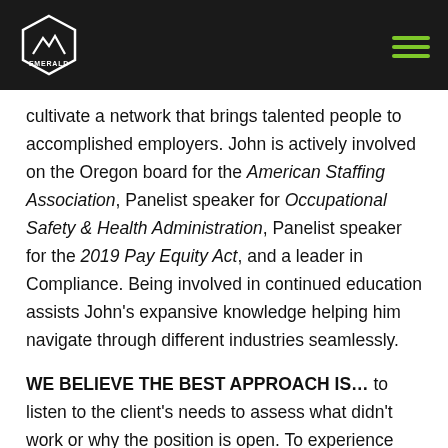EMERALD [logo with hamburger menu]
cultivate a network that brings talented people to accomplished employers. John is actively involved on the Oregon board for the American Staffing Association, Panelist speaker for Occupational Safety & Health Administration, Panelist speaker for the 2019 Pay Equity Act, and a leader in Compliance. Being involved in continued education assists John's expansive knowledge helping him navigate through different industries seamlessly.
WE BELIEVE THE BEST APPROACH IS… to listen to the client's needs to assess what didn't work or why the position is open. To experience continued growth, we reverse engineer the process building a candidate profile that will fulfill and